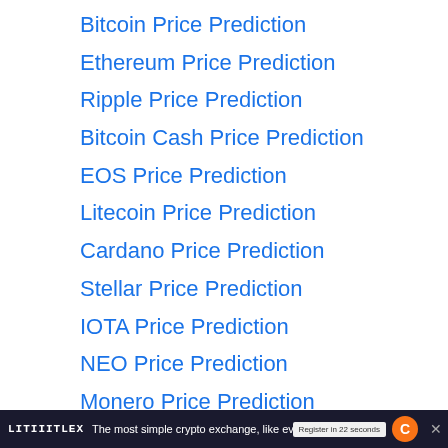Bitcoin Price Prediction
Ethereum Price Prediction
Ripple Price Prediction
Bitcoin Cash Price Prediction
EOS Price Prediction
Litecoin Price Prediction
Cardano Price Prediction
Stellar Price Prediction
IOTA Price Prediction
NEO Price Prediction
Monero Price Prediction
Dash Price Prediction
NEM Price Prediction
VeChain Price Prediction
LITIIITLEX  The most simple crypto exchange, like ever. Really. Ever.  Register in 22 seconds  C  X